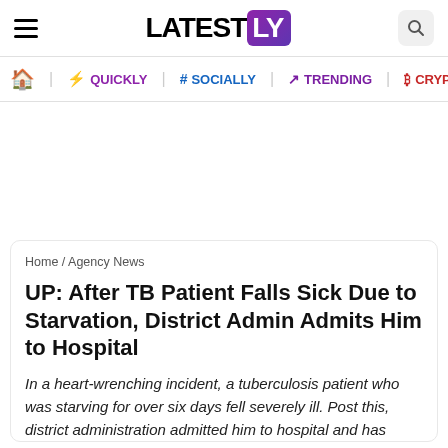LATESTLY
Home / QUICKLY / # SOCIALLY / TRENDING / CRYPTO
Home / Agency News
UP: After TB Patient Falls Sick Due to Starvation, District Admin Admits Him to Hospital
In a heart-wrenching incident, a tuberculosis patient who was starving for over six days fell severely ill. Post this, district administration admitted him to hospital and has arranged food in treatment and recovery, the citation said.